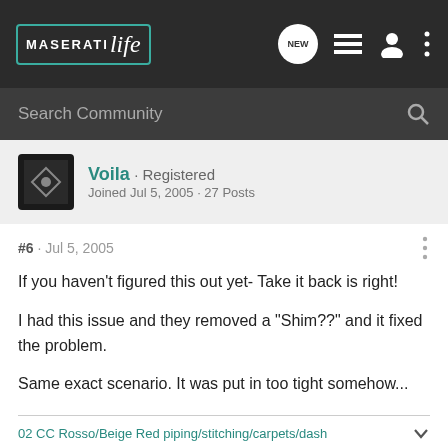MaseratiLife
Search Community
Voila · Registered
Joined Jul 5, 2005 · 27 Posts
#6 · Jul 5, 2005
If you haven't figured this out yet- Take it back is right!

I had this issue and they removed a "Shim??" and it fixed the problem.

Same exact scenario. It was put in too tight somehow...
02 CC Rosso/Beige Red piping/stitching/carpets/dash
02 CC Black/Tobacco black piping/stitching/carpets (Gold)